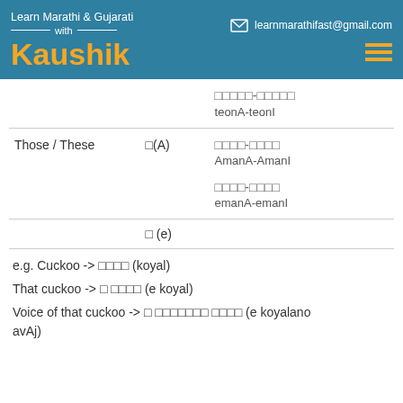Learn Marathi & Gujarati with Kaushik | learnmarathifast@gmail.com
|  |  |  |
| --- | --- | --- |
|  |  | □□□□□-□□□□□
teonA-teonI |
| Those / These | □(A) | □□□□-□□□□
AmanA-AmanI

□□□□-□□□□
emanA-emanI |
|  | □ (e) |  |
e.g. Cuckoo -> □□□□ (koyal)
That cuckoo -> □ □□□□ (e koyal)
Voice of that cuckoo -> □ □□□□□□ □□□□ (e koyalano avAj)